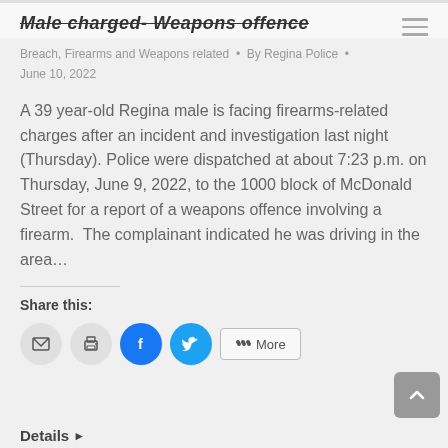Male charged- Weapons offence
Breach, Firearms and Weapons related • By Regina Police • June 10, 2022
A 39 year-old Regina male is facing firearms-related charges after an incident and investigation last night (Thursday). Police were dispatched at about 7:23 p.m. on Thursday, June 9, 2022, to the 1000 block of McDonald Street for a report of a weapons offence involving a firearm. The complainant indicated he was driving in the area…
Share this:
Details ▶